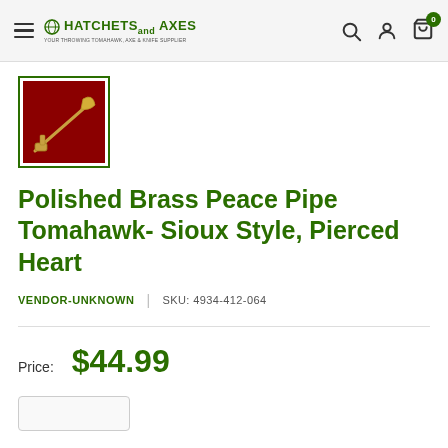HATCHETS and AXES
[Figure (photo): Product thumbnail image showing a polished brass peace pipe tomahawk on a dark red background, displayed in a green-bordered box]
Polished Brass Peace Pipe Tomahawk- Sioux Style, Pierced Heart
VENDOR-UNKNOWN | SKU: 4934-412-064
Price: $44.99